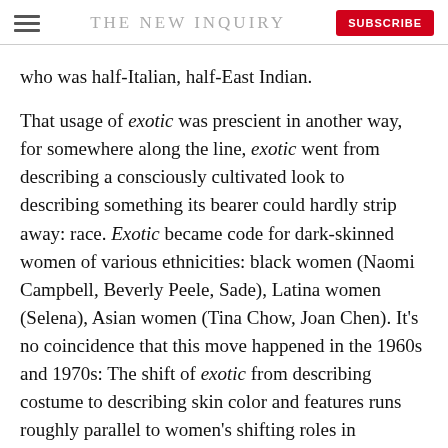THE NEW INQUIRY
who was half-Italian, half-East Indian.
That usage of exotic was prescient in another way, for somewhere along the line, exotic went from describing a consciously cultivated look to describing something its bearer could hardly strip away: race. Exotic became code for dark-skinned women of various ethnicities: black women (Naomi Campbell, Beverly Peele, Sade), Latina women (Selena), Asian women (Tina Chow, Joan Chen). It's no coincidence that this move happened in the 1960s and 1970s: The shift of exotic from describing costume to describing skin color and features runs roughly parallel to women's shifting roles in America. If